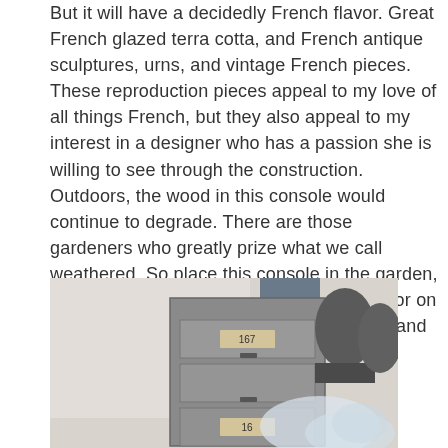But it will have a decidedly French flavor.  Great French glazed terra cotta, and French antique sculptures, urns, and vintage French pieces.   These reproduction pieces appeal to my love of all things French, but they also appeal to my interest in a designer who has a passion she is willing to see through the construction.  Outdoors, the wood in this console would continue to degrade.  There are those gardeners who greatly prize what we call weathered.  So place this console in the garden, and deal with the consequences.  Indoors, or on a covered porch, this table would lastingly and clearly speak to the garden-with a French flavor.
[Figure (photo): Photo of antique French-style metal filing cabinet with small drawers labeled with numbers, alongside decorative stone or resin sculptures/urns in the background.]